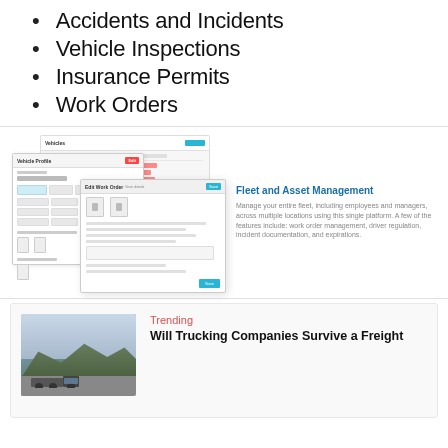Accidents and Incidents
Vehicle Inspections
Insurance Permits
Work Orders
[Figure (screenshot): Screenshot of a fleet management web application showing Vehicles list, Vehicle Profile panel, and Edit Work Order dialog]
Fleet and Asset Management
Manage your entire fleet, including employees and managers, across multiple locations using this single platform. A few of the features include: work order management, driver regulation, incident documentation, and expirations.
Trending
Will Trucking Companies Survive a Freight